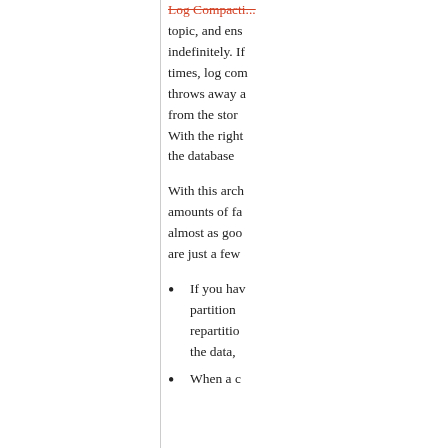Log Compacti... topic, and ensures indefinitely. If times, log com... throws away a... from the stor... With the right... the database...
With this arch... amounts of fa... almost as goo... are just a few...
If you hav... partition ... repartitio... the data,
When a c...